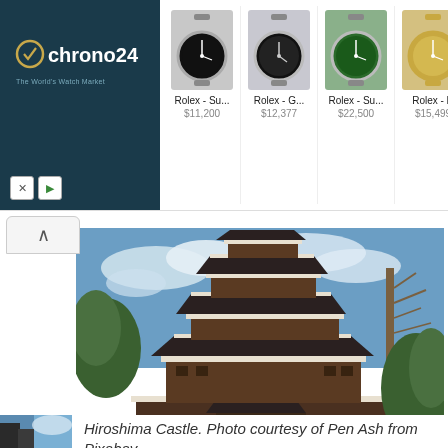[Figure (screenshot): Chrono24 advertisement banner showing logo on dark teal background and four Rolex watch listings with prices: Rolex Su... $11,200, Rolex G... $12,377, Rolex Su... $22,500, Rolex D... $15,499]
[Figure (photo): Hiroshima Castle, a traditional Japanese castle with multiple tiers, dark wood and white trim, surrounded by trees under a blue sky with clouds]
Hiroshima Castle. Photo courtesy of Pen Ash from Pixabay.
[Figure (photo): Partial view of another photo at bottom of page, appears to show a building with blue sky]